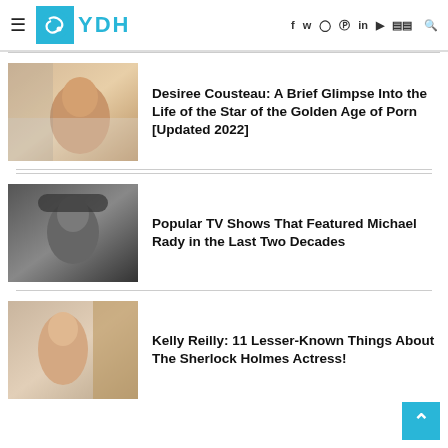YDH
Desiree Cousteau: A Brief Glimpse Into the Life of the Star of the Golden Age of Porn [Updated 2022]
Popular TV Shows That Featured Michael Rady in the Last Two Decades
Kelly Reilly: 11 Lesser-Known Things About The Sherlock Holmes Actress!